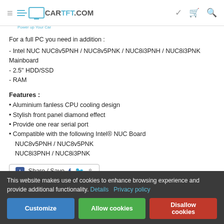CARTFT.COM Power up Your Car
For a full PC you need in addition :
- Intel NUC NUC8v5PNH / NUC8v5PNK / NUC8i3PNH / NUC8i3PNK Mainboard
- 2.5" HDD/SSD
- RAM
Features :
• Aluminium fanless CPU cooling design
• Stylish front panel diamond effect
• Provide one rear serial port
• Compatible with the following Intel® NUC Board NUC8v5PNH / NUC8v5PNK NUC8i3PNH / NUC8i3PNK
[Figure (other): Share / Save button with Facebook, Twitter and share icons]
This website makes use of cookies to enhance browsing experience and provide additional functionality. Details Privacy policy
Customize | Allow cookies | Disallow cookies